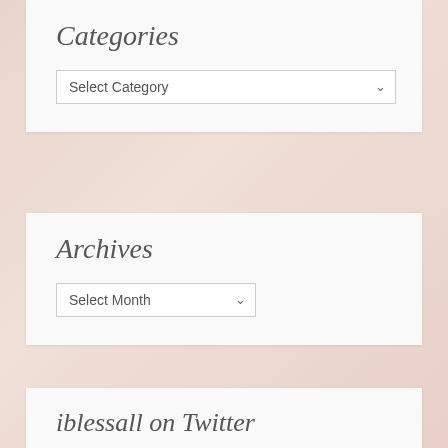Categories
[Figure (screenshot): Dropdown selector labeled 'Select Category' with chevron arrow]
Archives
[Figure (screenshot): Dropdown selector labeled 'Select Month' with chevron arrow]
iblessall on Twitter
[Figure (screenshot): Embedded Twitter widget showing 'Tweets from @iblessall' header and Twitter bird logo]